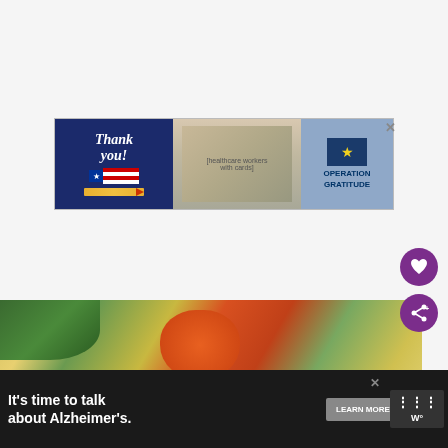[Figure (photo): Top banner advertisement for Operation Gratitude showing 'Thank you!' text with patriotic pencil graphic on left, three masked healthcare workers holding cards in the middle, and Operation Gratitude logo/text on the right with an X close button]
[Figure (photo): Food photograph showing a creamy soup or stew with vegetables including carrots, green vegetables, and other colorful ingredients in a light-colored broth]
WHAT'S NEXT → Anti-Inflammator...
[Figure (photo): Small thumbnail image of a food dish for the 'What's Next' section]
[Figure (screenshot): Purple circular heart/favorite button icon]
[Figure (screenshot): Purple circular share button icon with share symbol]
[Figure (photo): Bottom banner advertisement: 'It's time to talk about Alzheimer's.' with LEARN MORE button, ALZ badge logo, Alzheimer's Association logo, and close X button. Also shows a weather widget with 'W°' text on the far right.]